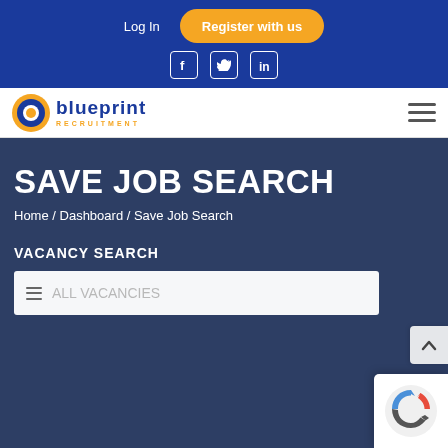Log In | Register with us
[Figure (logo): Blueprint Recruitment logo with circle icon and text]
SAVE JOB SEARCH
Home / Dashboard / Save Job Search
VACANCY SEARCH
ALL VACANCIES